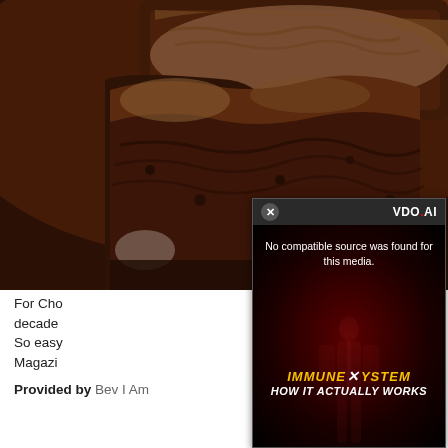[Figure (photo): Close-up photo of chocolate brownies with crackly tops, dark chocolate color, stacked on a surface]
[Figure (screenshot): Video player overlay from VDO.AI showing an error message 'No compatible source was found for this media.' over a dark red background with 'IMMUNE SYSTEM HOW IT ACTUALLY WORKS' text and a human body illustration. Has a close button (x) in the top-left corner.]
For Cho decades So easy Magazi
Provided by Bev I Am